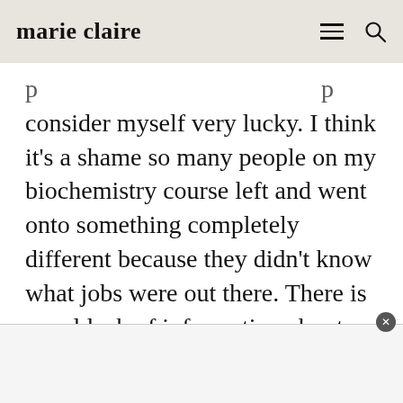marie claire
consider myself very lucky. I think it’s a shame so many people on my biochemistry course left and went onto something completely different because they didn’t know what jobs were out there. There is a real lack of information about the wide spectrum of jobs that are available to you if you are a scientist.
I think there is a need of visible role models in